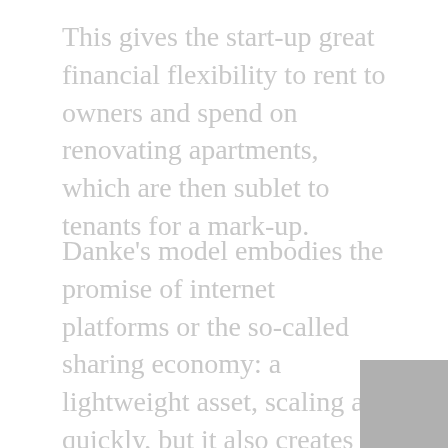This gives the start-up great financial flexibility to rent to owners and spend on renovating apartments, which are then sublet to tenants for a mark-up.
Danke's model embodies the promise of internet platforms or the so-called sharing economy: a lightweight asset, scaling at quickly, but it also creates huge risks for vendors and consumers alike he undertakes to serve. When the COVID-19 pandemic struck, the rental market in China cooled, straining Danke's finances while...
When TechCrunch spoke with angel investor and Danke chairman Derek Shaw last year about the company's financial risks, he said: "There's nothing wrong with the financial instrument itself. The problem is when the real estate operator is struggling to repay, so the key is to make sure the...